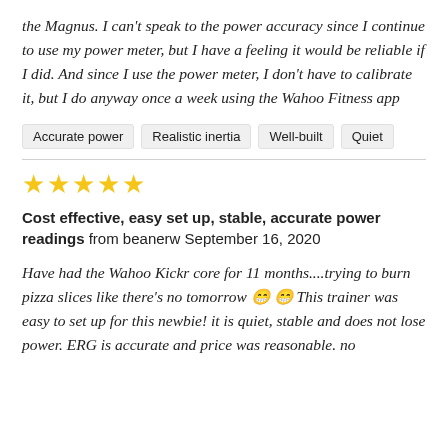the Magnus. I can't speak to the power accuracy since I continue to use my power meter, but I have a feeling it would be reliable if I did. And since I use the power meter, I don't have to calibrate it, but I do anyway once a week using the Wahoo Fitness app
Accurate power
Realistic inertia
Well-built
Quiet
★★★★★
Cost effective, easy set up, stable, accurate power readings from beanerw September 16, 2020
Have had the Wahoo Kickr core for 11 months....trying to burn pizza slices like there's no tomorrow 😁😁 This trainer was easy to set up for this newbie! it is quiet, stable and does not lose power. ERG is accurate and price was reasonable. no